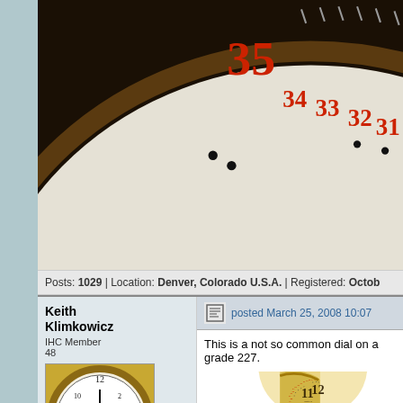[Figure (photo): Close-up photo of a pocket watch dial showing numbers 30-35 in dark tones with red numerals, partial view of the dial face]
Posts: 1029 | Location: Denver, Colorado U.S.A. | Registered: Octob
Keith Klimkowicz
IHC Member
48
[Figure (photo): Small circular avatar image showing a clock/watch face]
posted March 25, 2008 10:07
This is a not so common dial on a grade 227.
[Figure (photo): Close-up photo of a large pocket watch dial with gold/yellow background showing numbers 10-12 area, with secondary minute numerals 49-60, and partial text 'South B' at bottom right]